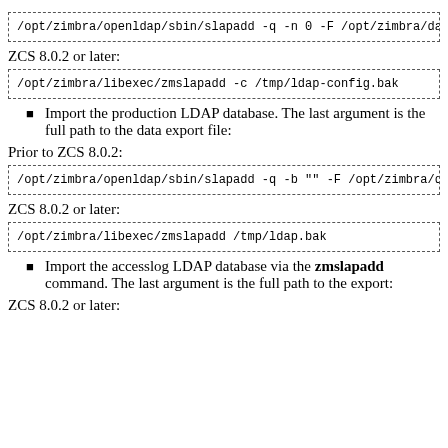[Figure (screenshot): Code box: /opt/zimbra/openldap/sbin/slapadd -q -n 0 -F /opt/zimbra/data/ldap/co...]
ZCS 8.0.2 or later:
[Figure (screenshot): Code box: /opt/zimbra/libexec/zmslapadd -c /tmp/ldap-config.bak]
Import the production LDAP database. The last argument is the full path to the data export file:
Prior to ZCS 8.0.2:
[Figure (screenshot): Code box: /opt/zimbra/openldap/sbin/slapadd -q -b "" -F /opt/zimbra/data/ldap/co...]
ZCS 8.0.2 or later:
[Figure (screenshot): Code box: /opt/zimbra/libexec/zmslapadd /tmp/ldap.bak]
Import the accesslog LDAP database via the zmslapadd command. The last argument is the full path to the export:
ZCS 8.0.2 or later: